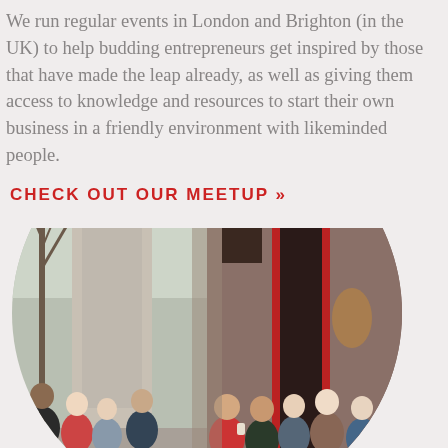We run regular events in London and Brighton (in the UK) to help budding entrepreneurs get inspired by those that have made the leap already, as well as giving them access to knowledge and resources to start their own business in a friendly environment with likeminded people.
CHECK OUT OUR MEETUP »
[Figure (photo): A circular-cropped group photo of people (entrepreneurs/meetup attendees) standing together outside. Left half shows a wintry outdoor scene with bare trees; right half shows people smiling in front of a red-framed building entrance.]